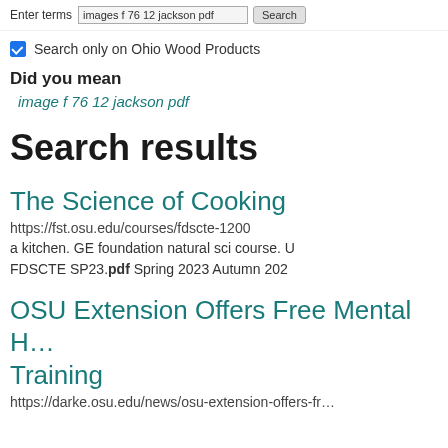Enter terms  images f 76 12 jackson pdf  Search
Search only on Ohio Wood Products
Did you mean
image f 76 12 jackson pdf
Search results
The Science of Cooking
https://fst.osu.edu/courses/fdscte-1200
a kitchen. GE foundation natural sci course. U FDSCTE SP23.pdf Spring 2023 Autumn 202
OSU Extension Offers Free Mental H… Training
https://darke.osu.edu/news/osu-extension-offers-fr…